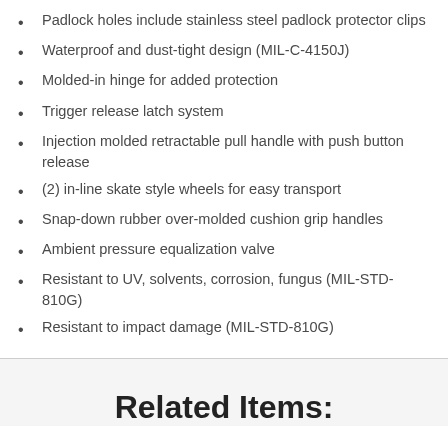Padlock holes include stainless steel padlock protector clips
Waterproof and dust-tight design (MIL-C-4150J)
Molded-in hinge for added protection
Trigger release latch system
Injection molded retractable pull handle with push button release
(2) in-line skate style wheels for easy transport
Snap-down rubber over-molded cushion grip handles
Ambient pressure equalization valve
Resistant to UV, solvents, corrosion, fungus (MIL-STD-810G)
Resistant to impact damage (MIL-STD-810G)
Related Items: